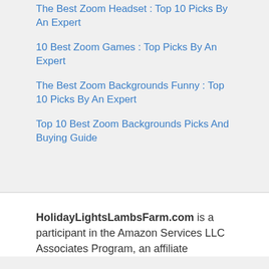The Best Zoom Headset : Top 10 Picks By An Expert
10 Best Zoom Games : Top Picks By An Expert
The Best Zoom Backgrounds Funny : Top 10 Picks By An Expert
Top 10 Best Zoom Backgrounds Picks And Buying Guide
HolidayLightsLambsFarm.com is a participant in the Amazon Services LLC Associates Program, an affiliate